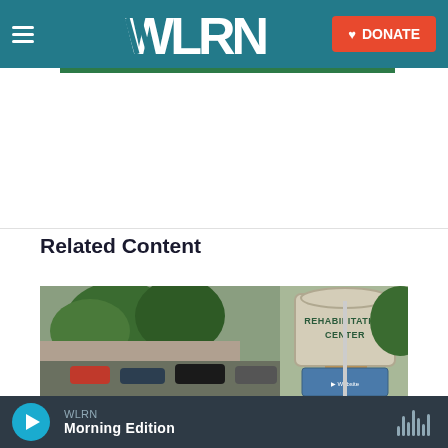WLRN — Navigation bar with WLRN logo and DONATE button
[Figure (photo): Outdoor photo of a Rehabilitation Center sign with trees and parked cars in background]
Related Content
WLRN — Morning Edition (audio player)